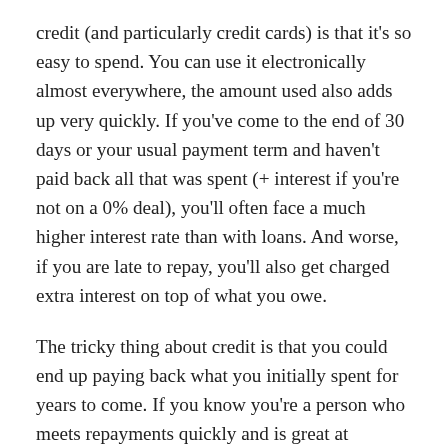credit (and particularly credit cards) is that it's so easy to spend. You can use it electronically almost everywhere, the amount used also adds up very quickly. If you've come to the end of 30 days or your usual payment term and haven't paid back all that was spent (+ interest if you're not on a 0% deal), you'll often face a much higher interest rate than with loans. And worse, if you are late to repay, you'll also get charged extra interest on top of what you owe.
The tricky thing about credit is that you could end up paying back what you initially spent for years to come. If you know you're a person who meets repayments quickly and is great at keeping on top of bills, credit can be wonderful… if a changing repayment amount and possible growing interest isn't something you're after, a personal loan for a specific event or upcoming purchase is probably